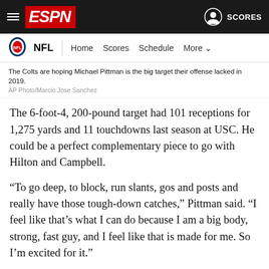ESPN NFL Navigation Bar
The Colts are hoping Michael Pittman is the big target their offense lacked in 2019.
AP Photo/Marcio Jose Sanchez
The 6-foot-4, 200-pound target had 101 receptions for 1,275 yards and 11 touchdowns last season at USC. He could be a perfect complementary piece to go with Hilton and Campbell.
“To go deep, to block, run slants, gos and posts and really have those tough-down catches,” Pittman said. “I feel like that’s what I can do because I am a big body, strong, fast guy, and I feel like that is made for me. So I’m excited for it.”
The Colts are aware that time is ticking for Hilton, who has been the team’s go-to receiver for most of his eight seasons with the organization. But the reality is he’ll turn 31 later this